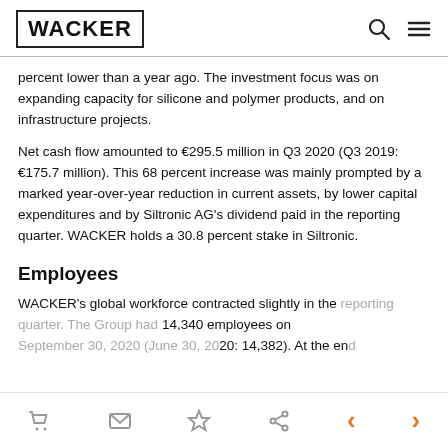WACKER
percent lower than a year ago. The investment focus was on expanding capacity for silicone and polymer products, and on infrastructure projects.
Net cash flow amounted to €295.5 million in Q3 2020 (Q3 2019: €175.7 million). This 68 percent increase was mainly prompted by a marked year-over-year reduction in current assets, by lower capital expenditures and by Siltronic AG's dividend paid in the reporting quarter. WACKER holds a 30.8 percent stake in Siltronic.
Employees
WACKER's global workforce contracted slightly in the reporting quarter. The Group had 14,340 employees on September 30, 2020 (June 30, 2020: 14,382). At the end